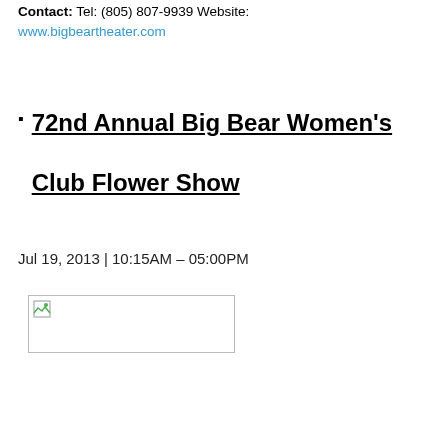Contact: Tel: (805) 807-9939 Website:
www.bigbeartheater.com
72nd Annual Big Bear Women's Club Flower Show
Jul 19, 2013 | 10:15AM – 05:00PM
[Figure (photo): Broken/missing image placeholder with small icon]